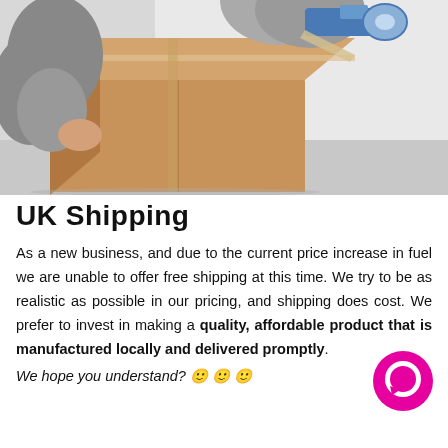[Figure (photo): Person taping a cardboard shipping box with a tape gun dispenser, against a light grey/white background.]
UK Shipping
As a new business, and due to the current price increase in fuel we are unable to offer free shipping at this time. We try to be as realistic as possible in our pricing, and shipping does cost. We prefer to invest in making a quality, affordable product that is manufactured locally and delivered promptly.
We hope you understand? 🙂 🙂 🙂